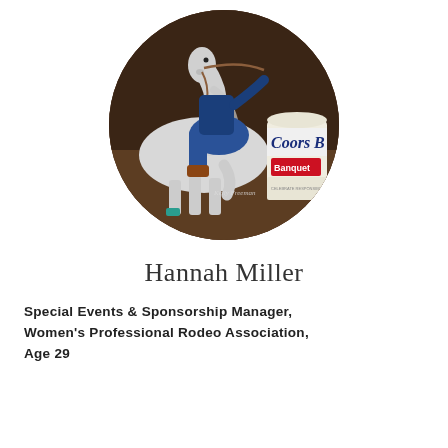[Figure (photo): Circular cropped action photo of a rider on a white horse during a barrel racing event in an indoor arena. A Coors Banquet barrel is visible on the right side. Photo credit watermark reads 'Kelly Freeman'.]
Hannah Miller
Special Events & Sponsorship Manager, Women's Professional Rodeo Association, Age 29